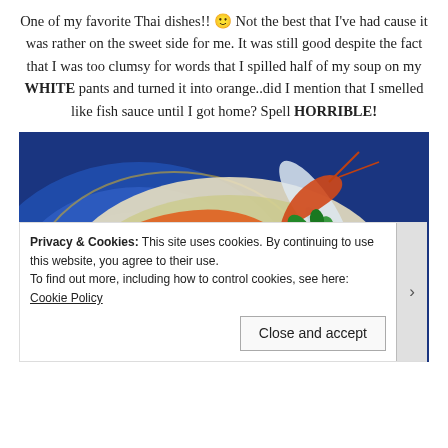One of my favorite Thai dishes!! 🙂 Not the best that I've had cause it was rather on the sweet side for me. It was still good despite the fact that I was too clumsy for words that I spilled half of my soup on my WHITE pants and turned it into orange..did I mention that I smelled like fish sauce until I got home? Spell HORRIBLE!
[Figure (photo): A bowl of Thai tom yum soup with shrimp, fish balls, and garnish on a blue decorative plate, photographed from above at an angle.]
Privacy & Cookies: This site uses cookies. By continuing to use this website, you agree to their use.
To find out more, including how to control cookies, see here: Cookie Policy
Close and accept